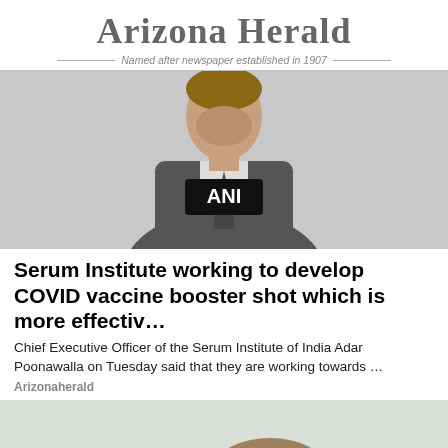Arizona Herald — Named after newspaper established in 1907 —
[Figure (photo): Man in a grey suit speaking into an ANI microphone at a press event]
Serum Institute working to develop COVID vaccine booster shot which is more effectiv…
Chief Executive Officer of the Serum Institute of India Adar Poonawalla on Tuesday said that they are working towards …
Arizonaherald
[Figure (photo): Two people posing for a selfie outdoors, man wearing glasses, trees in background]